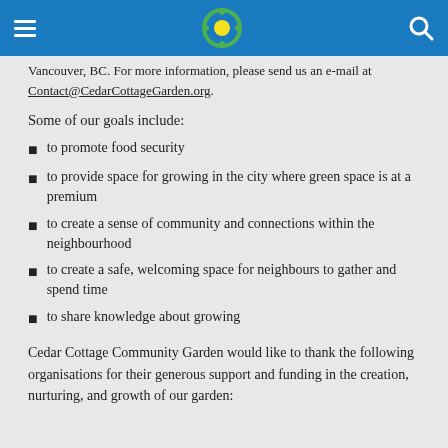[Navigation bar with hamburger menu, logo, and search icon]
Vancouver, BC. For more information, please send us an e-mail at Contact@CedarCottageGarden.org.
Some of our goals include:
to promote food security
to provide space for growing in the city where green space is at a premium
to create a sense of community and connections within the neighbourhood
to create a safe, welcoming space for neighbours to gather and spend time
to share knowledge about growing
Cedar Cottage Community Garden would like to thank the following organisations for their generous support and funding in the creation, nurturing, and growth of our garden: